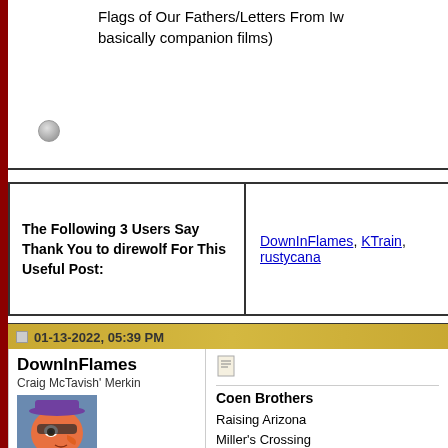Flags of Our Fathers/Letters From Iwo (basically companion films)
| The Following 3 Users Say Thank You to direwolf For This Useful Post: | DownInFlames, KTrain, rustycana |
| --- | --- |
01-13-2022, 05:39 PM
DownInFlames
Craig McTavish' Merkin
Join Date: Oct 2008
Coen Brothers
Raising Arizona
Miller's Crossing
Barton Fink
&
Fargo
The Big Lebowski
O Brother, Where Art Thou?
&
A Serious Man
True Grit